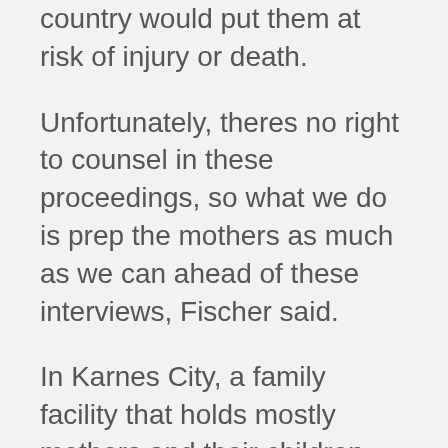country would put them at risk of injury or death.
Unfortunately, theres no right to counsel in these proceedings, so what we do is prep the mothers as much as we can ahead of these interviews, Fischer said.
In Karnes City, a family facility that holds mostly mothers and their children, Fischer and other advocates have a high success rateroughly 90 percent of refugees there are granted the right to stay in the